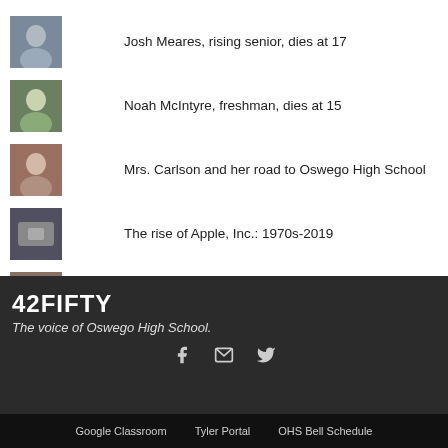Josh Meares, rising senior, dies at 17
Noah McIntyre, freshman, dies at 15
Mrs. Carlson and her road to Oswego High School
The rise of Apple, Inc.: 1970s-2019
Humans of Oswego High School 2018
42FIFTY
The voice of Oswego High School.
Google Classroom   Tyler Portal   OHS Bell Schedule